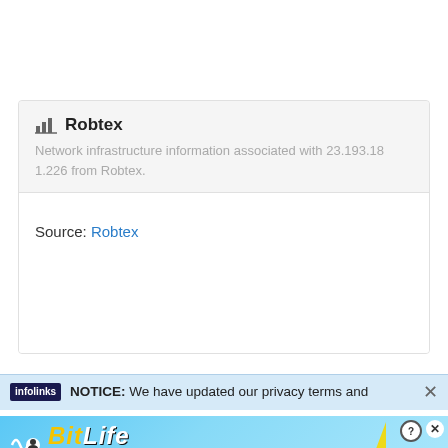Robtex
Network infrastructure information associated with 23.193.181.226 from Robtex.
Source: Robtex
NOTICE: We have updated our privacy terms and
[Figure (screenshot): BitLife advertisement banner: 'NOW WITH GOD MODE']